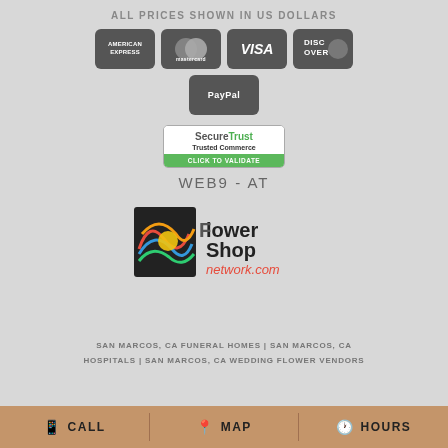ALL PRICES SHOWN IN US DOLLARS
[Figure (logo): Payment method icons: American Express, Mastercard, Visa, Discover, PayPal]
[Figure (logo): SecureTrust Trusted Commerce - Click to Validate badge]
WEB9 - AT
[Figure (logo): Flower Shop Network .com logo]
SAN MARCOS, CA FUNERAL HOMES | SAN MARCOS, CA HOSPITALS | SAN MARCOS, CA WEDDING FLOWER VENDORS
CALL  MAP  HOURS